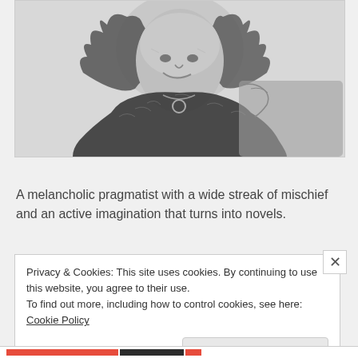[Figure (illustration): Black and white pencil sketch portrait of a person with curly hair wearing a fur collar and necklace with a circular pendant]
Trinity
A melancholic pragmatist with a wide streak of mischief and an active imagination that turns into novels.
Privacy & Cookies: This site uses cookies. By continuing to use this website, you agree to their use.
To find out more, including how to control cookies, see here: Cookie Policy
Close and accept